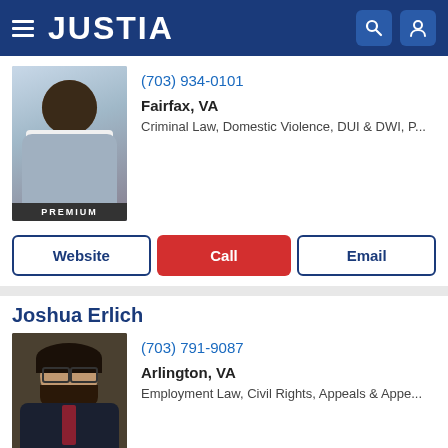JUSTIA
(703) 934-0101
Fairfax, VA
Criminal Law, Domestic Violence, DUI & DWI, P...
Website | Call | Email
Joshua Erlich
(703) 791-9087
Arlington, VA
Employment Law, Civil Rights, Appeals & Appe...
Website | Call | Email